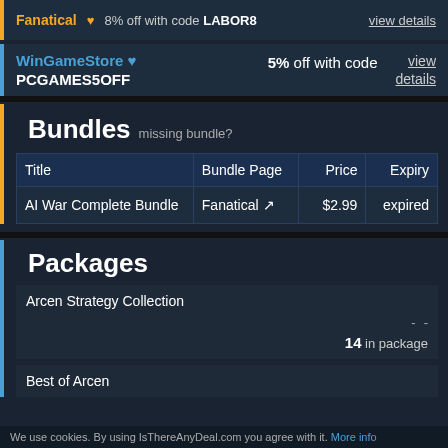Fanatical ❤ 8% off with code LABOR8 view details
WinGameStore 💙 5% off with code PCGAMES5OFF view details
Bundles missing bundle?
| Title | Bundle Page | Price | Expiry |
| --- | --- | --- | --- |
| AI War Complete Bundle | Fanatical ↗ | $2.99 | expired |
Packages
Arcen Strategy Collection
14 in package
Best of Arcen
We use cookies. By using IsThereAnyDeal.com you agree with it. More info